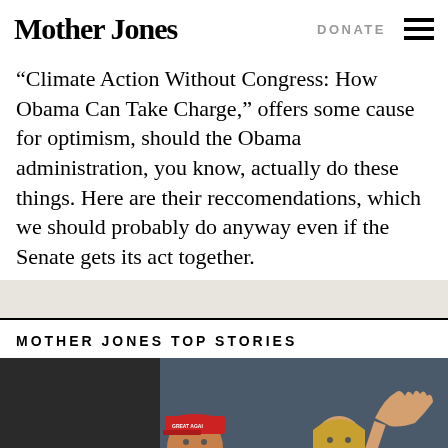Mother Jones | DONATE
“Climate Action Without Congress: How Obama Can Take Charge,” offers some cause for optimism, should the Obama administration, you know, actually do these things. Here are their reccomendations, which we should probably do anyway even if the Senate gets its act together.
MOTHER JONES TOP STORIES
[Figure (photo): Photo of Donald Trump wearing a red MAGA cap and white polo shirt, speaking, alongside a blonde woman waving her hand, with a dark background suggesting an outdoor event.]